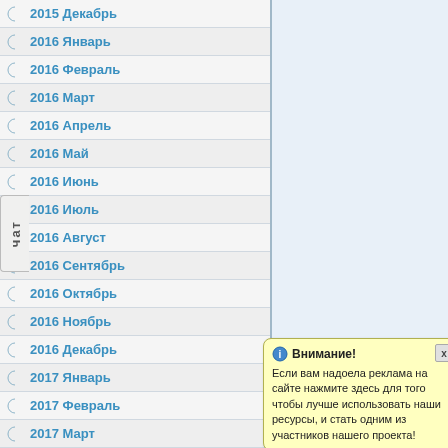2015 Декабрь
2016 Январь
2016 Февраль
2016 Март
2016 Апрель
2016 Май
2016 Июнь
2016 Июль
2016 Август
2016 Сентябрь
2016 Октябрь
2016 Ноябрь
2016 Декабрь
2017 Январь
2017 Февраль
2017 Март
2017 Апрель
2017 Май
2017 Июнь
2017 Июль
Внимание! Если вам надоела реклама на сайте нажмите здесь для того чтобы лучше использовать наши ресурсы, и стать одним из участников нашего проекта!